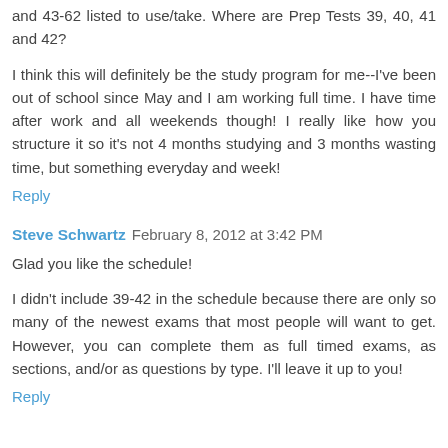and 43-62 listed to use/take. Where are Prep Tests 39, 40, 41 and 42?
I think this will definitely be the study program for me--I've been out of school since May and I am working full time. I have time after work and all weekends though! I really like how you structure it so it's not 4 months studying and 3 months wasting time, but something everyday and week!
Reply
Steve Schwartz  February 8, 2012 at 3:42 PM
Glad you like the schedule!
I didn't include 39-42 in the schedule because there are only so many of the newest exams that most people will want to get. However, you can complete them as full timed exams, as sections, and/or as questions by type. I'll leave it up to you!
Reply